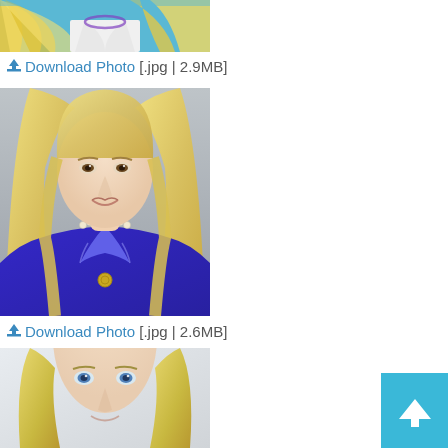[Figure (photo): Top portion of a woman with long blonde hair wearing a teal/blue top and white jacket with a colorful necklace, cropped at top of image]
⬇ Download Photo [.jpg | 2.9MB]
[Figure (photo): Professional headshot of a blonde woman in a royal blue blazer with a pearl/gold necklace, photographed against a gray background]
⬇ Download Photo [.jpg | 2.6MB]
[Figure (photo): Partial headshot of a blonde woman with blue eyes, photographed against a light background, image cut off at bottom of page]
[Figure (other): Teal back-to-top button with upward chevron arrow in bottom right corner]